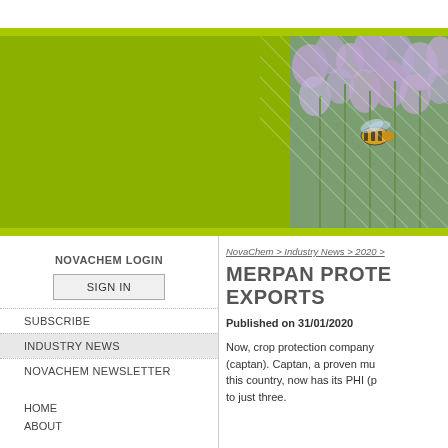[Figure (photo): Banner with olive/yellow-green background on left and a bee on lavender/heather flowers on the right portion, with diagonal line overlay]
NOVACHEM LOGIN
SIGN IN
SUBSCRIBE
INDUSTRY NEWS
NOVACHEM NEWSLETTER
HOME
ABOUT
NovaChem > Industry News > 2020 >
MERPAN PROTE… EXPORTS
Published on 31/01/2020
Now, crop protection company… (captan). Captan, a proven mu… this country, now has its PHI (p… to just three.